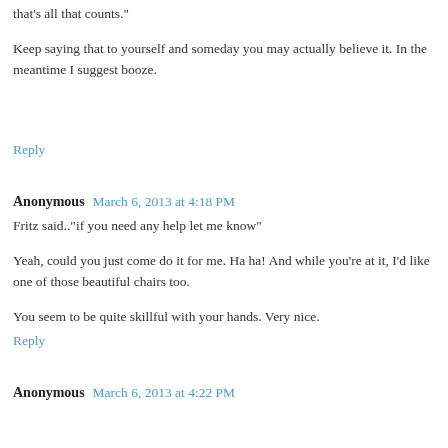that's all that counts."
Keep saying that to yourself and someday you may actually believe it. In the meantime I suggest booze.
Reply
Anonymous  March 6, 2013 at 4:18 PM
Fritz said.."if you need any help let me know"
Yeah, could you just come do it for me. Ha ha! And while you're at it, I'd like one of those beautiful chairs too.
You seem to be quite skillful with your hands. Very nice.
Reply
Anonymous  March 6, 2013 at 4:22 PM